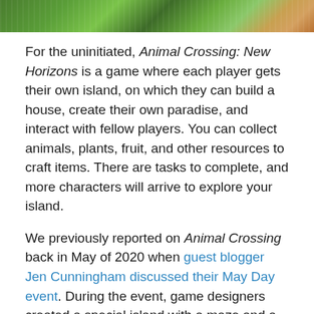[Figure (illustration): Top banner showing Animal Crossing: New Horizons game art with green foliage and characters]
For the uninitiated, Animal Crossing: New Horizons is a game where each player gets their own island, on which they can build a house, create their own paradise, and interact with fellow players. You can collect animals, plants, fruit, and other resources to craft items. There are tasks to complete, and more characters will arrive to explore your island.
We previously reported on Animal Crossing back in May of 2020 when guest blogger Jen Cunningham discussed their May Day event. During the event, game designers created a special island with a maze and a series of tasks for players to complete as they solved the twisty turny path before them. It was a big success, one of many for the game in 2020.